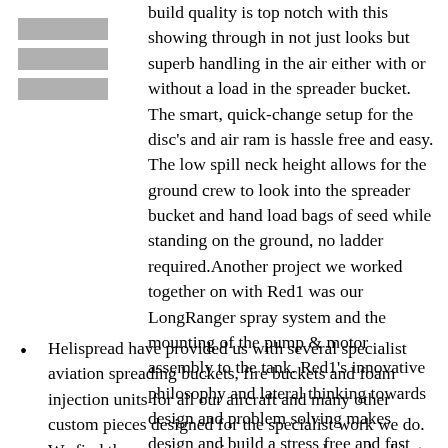[Figure (other): Grey icon showing stacked horizontal bars, representing a list or table structure]
build quality is top notch with this showing through in not just looks but superb handling in the air either with or without a load in the spreader bucket. The smart, quick-change setup for the disc's and air ram is hassle free and easy. The low spill neck height allows for the ground crew to look into the spreader bucket and hand load bags of seed while standing on the ground, no ladder required.Another project we worked together on with Red1 was our LongRanger spray system and the mounting of the pump & motor assembly to the tank. Red1's innovative philosophy and lateral thinking towards design and problem solving makes design and build a stress free and fast process. We highly recommend you contact Red 1 Fabrication, they are the best.    Paul Williams. CEO and Chief Pilot Highland Helicopters Ltd, New Zealand
Helispread have provided us with several specialist aviation spreading buckets, fire buckets and foam injection units for all our aircraft and many other custom pieces designed for the specialist work we do. We find them an innovative company always looking for ways to